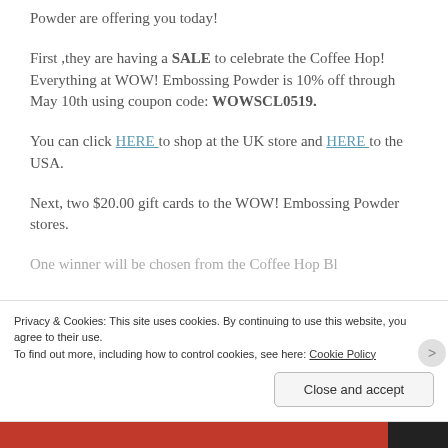Powder are offering you today!
First ,they are having a SALE to celebrate the Coffee Hop!  Everything at WOW! Embossing Powder is 10% off through May 10th using coupon code: WOWSCL0519.
You can click HERE to shop at the UK store and HERE  to the USA.
Next, two $20.00 gift cards to the WOW! Embossing Powder stores.
One winner will be chosen from the Coffee Hop Bl...
Privacy & Cookies: This site uses cookies. By continuing to use this website, you agree to their use.
To find out more, including how to control cookies, see here: Cookie Policy
Close and accept